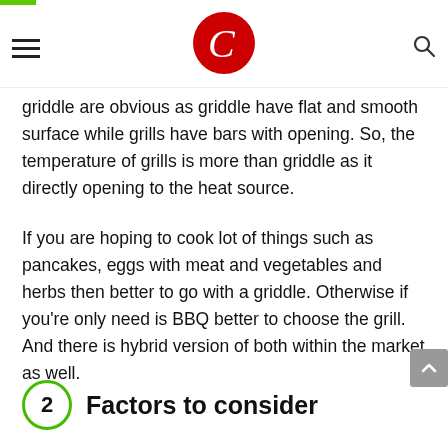C (logo)
griddle are obvious as griddle have flat and smooth surface while grills have bars with opening. So, the temperature of grills is more than griddle as it directly opening to the heat source.
If you are hoping to cook lot of things such as pancakes, eggs with meat and vegetables and herbs then better to go with a griddle. Otherwise if you're only need is BBQ better to choose the grill. And there is hybrid version of both within the market as well.
2 Factors to consider